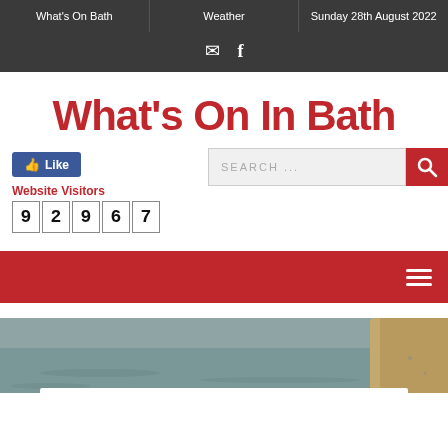What's On Bath | Weather | Sunday 28th August 2022
What's On In Bath
SEARCH ...
Like
Website Visitors
92967
Bath News & Events
[Figure (photo): River scene with stone bridge structure and water, with a white card overlay at bottom]